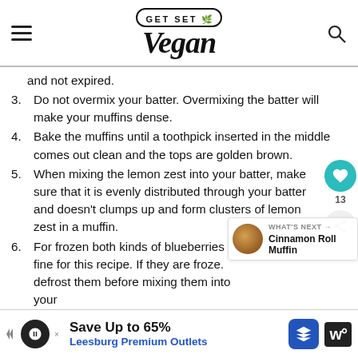GET SET Vegan
and not expired.
3. Do not overmix your batter. Overmixing the batter will make your muffins dense.
4. Bake the muffins until a toothpick inserted in the middle comes out clean and the tops are golden brown.
5. When mixing the lemon zest into your batter, make sure that it is evenly distributed through your batter and doesn’t clumps up and form clusters of lemon zest in a muffin.
6. For frozen both kinds of blueberries fine for this recipe. If they are froze. defrost them before mixing them into your
[Figure (infographic): Advertisement bar: Save Up to 65% Leesburg Premium Outlets]